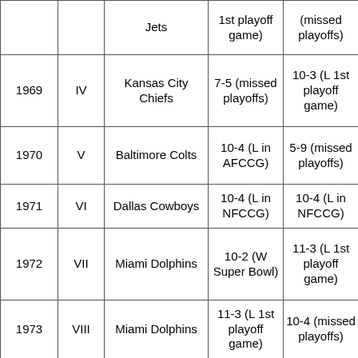| Year | Super Bowl | Champion | AFC Record | NFC Record |
| --- | --- | --- | --- | --- |
|  |  | Jets | 1st playoff game) | (missed playoffs) |
| 1969 | IV | Kansas City Chiefs | 7-5 (missed playoffs) | 10-3 (L 1st playoff game) |
| 1970 | V | Baltimore Colts | 10-4 (L in AFCCG) | 5-9 (missed playoffs) |
| 1971 | VI | Dallas Cowboys | 10-4 (L in NFCCG) | 10-4 (L in NFCCG) |
| 1972 | VII | Miami Dolphins | 10-2 (W Super Bowl) | 11-3 (L 1st playoff game) |
| 1973 | VIII | Miami Dolphins | 11-3 (L 1st playoff game) | 10-4 (missed playoffs) |